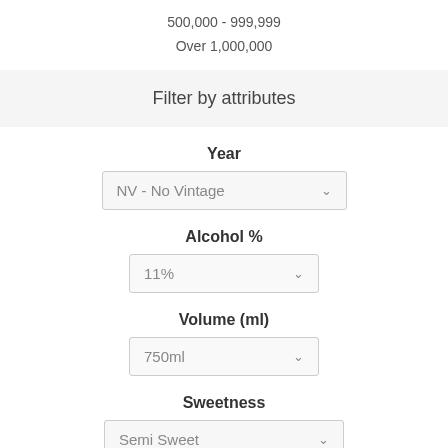500,000 - 999,999
Over 1,000,000
Filter by attributes
Year
NV - No Vintage
Alcohol %
11%
Volume (ml)
750ml
Sweetness
Semi Sweet
Points